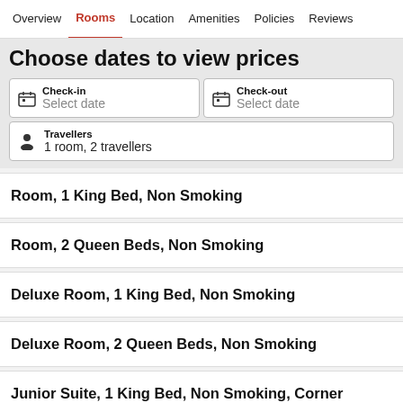Overview  Rooms  Location  Amenities  Policies  Reviews
Choose dates to view prices
Check-in
Select date
Check-out
Select date
Travellers
1 room, 2 travellers
Room, 1 King Bed, Non Smoking
Room, 2 Queen Beds, Non Smoking
Deluxe Room, 1 King Bed, Non Smoking
Deluxe Room, 2 Queen Beds, Non Smoking
Junior Suite, 1 King Bed, Non Smoking, Corner